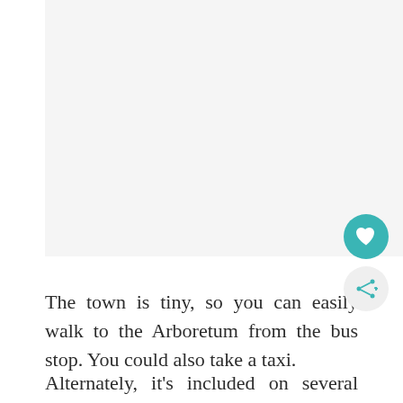[Figure (photo): Placeholder image area at top of page, light gray background]
The town is tiny, so you can easily walk to the Arboretum from the bus stop. You could also take a taxi.
Alternately, it's included on several guided tours that cover a larger swath of Croatia such as this Stop tour